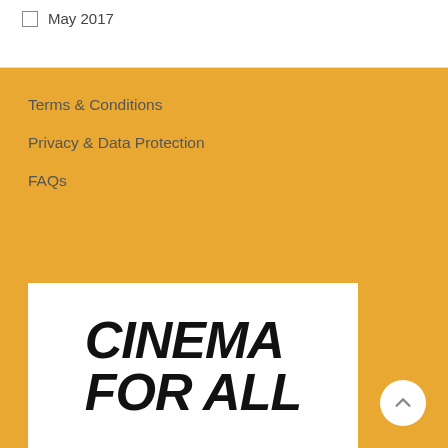May 2017
Terms & Conditions
Privacy & Data Protection
FAQs
[Figure (logo): Cinema For All logo — bold black italic text on white background reading CINEMA FOR ALL]